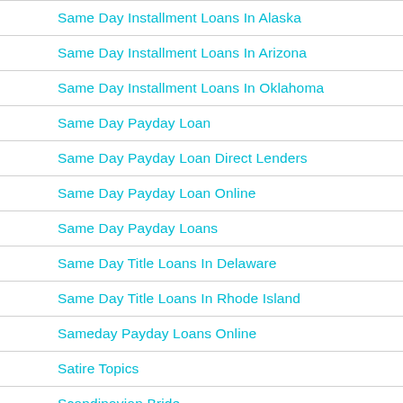Same Day Installment Loans In Alaska
Same Day Installment Loans In Arizona
Same Day Installment Loans In Oklahoma
Same Day Payday Loan
Same Day Payday Loan Direct Lenders
Same Day Payday Loan Online
Same Day Payday Loans
Same Day Title Loans In Delaware
Same Day Title Loans In Rhode Island
Sameday Payday Loans Online
Satire Topics
Scandinavian Bride
School Homeworks